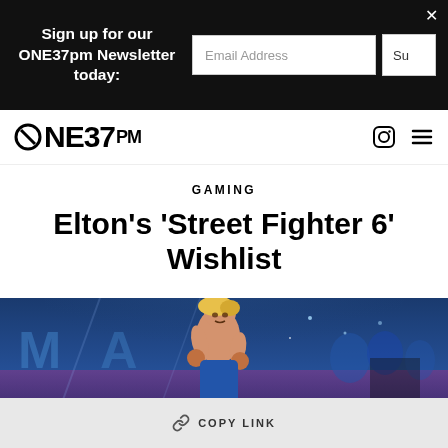Sign up for our ONE37pm Newsletter today:
ONE37PM logo, Instagram icon, Menu icon
GAMING
Elton's 'Street Fighter 6' Wishlist
[Figure (illustration): Street Fighter 6 game art showing a shirtless male fighter character with blonde hair in a fighting stance, set against a blue arena background with crowd]
COPY LINK